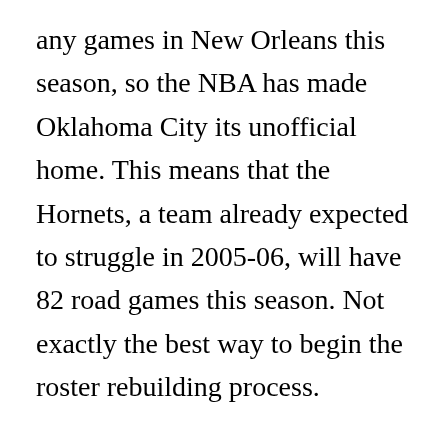any games in New Orleans this season, so the NBA has made Oklahoma City its unofficial home. This means that the Hornets, a team already expected to struggle in 2005-06, will have 82 road games this season. Not exactly the best way to begin the roster rebuilding process.
However, there are reasons for optimism for Hornets' fans this season. Chris Paul fell to them at the fourth pick of last year's draft, and he's expected to contend for the Rookie